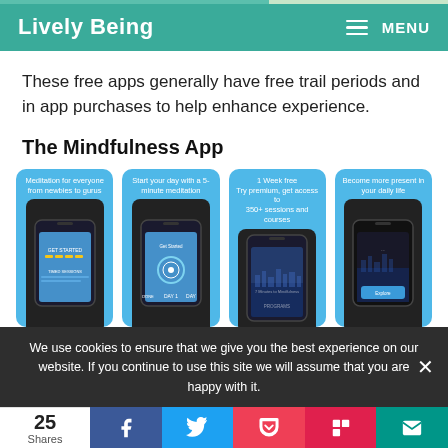Lively Being | MENU
These free apps generally have free trail periods and in app purchases to help enhance experience.
The Mindfulness App
[Figure (screenshot): Four Mindfulness App screenshots showing: 'Meditation for everyone from newbies to gurus', 'Start your day with a 5-minute meditation', '1 Week free – Try premium, get access to 350+ sessions and courses', 'Become more present in your daily life']
We use cookies to ensure that we give you the best experience on our website. If you continue to use this site we will assume that you are happy with it.
25 Shares | Facebook | Twitter | Pocket | Flipboard | Email